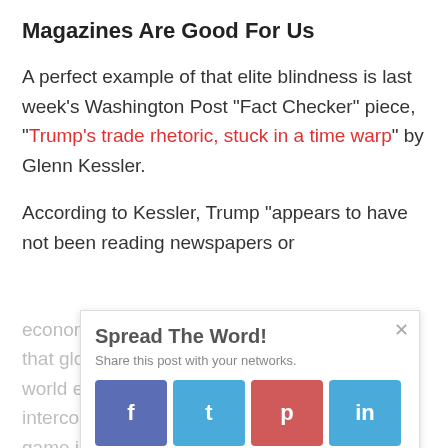Magazines Are Good For Us
A perfect example of that elite blindness is last week's Washington Post "Fact Checker" piece, "Trump's trade rhetoric, stuck in a time warp" by Glenn Kessler.
According to Kessler, Trump "appears to have not been reading newspapers or economic magazines enough to understand that globalization has changed the face of the world economy, for good or bad. In an interconnected world, it's no longer a zero sum game in
[Figure (infographic): Spread The Word! social sharing popup overlay with Facebook, Twitter, Pinterest, and LinkedIn buttons. Has a close (x) button in the top right corner.]